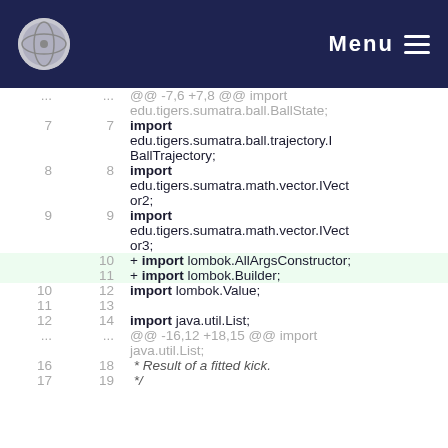Menu
@@ -7,6 +7,8 @@ import edu.tigers.sumatra.ball.BallState;
7  7  import edu.tigers.sumatra.ball.trajectory.IBallTrajectory;
8  8  import edu.tigers.sumatra.math.vector.IVector2;
9  9  import edu.tigers.sumatra.math.vector.IVector3;
   10 + import lombok.AllArgsConstructor;
   11 + import lombok.Builder;
10 12  import lombok.Value;
11 13
12 14  import java.util.List;
... ... @@ -16,12 +18,15 @@ import java.util.List;
16 18   * Result of a fitted kick.
17 19   */